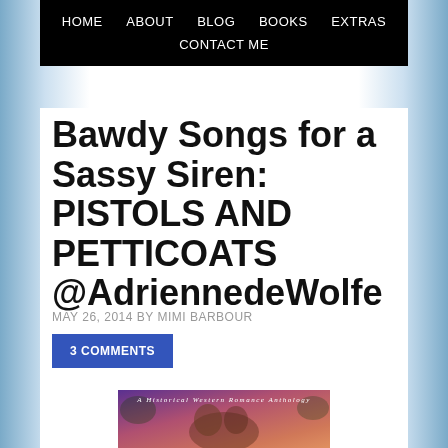HOME   ABOUT   BLOG   BOOKS   EXTRAS   CONTACT ME
Bawdy Songs for a Sassy Siren: PISTOLS AND PETTICOATS @AdriennedeWolfe
MAY 26, 2014 BY MIMI BARBOUR
3 COMMENTS
[Figure (photo): Book cover for Pistols and Petticoats - A Historical Western Romance Anthology, showing a couple embracing with purple and pink background]